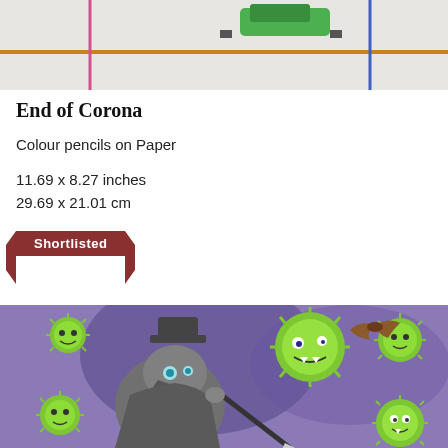[Figure (illustration): Top portion of a coloured pencil drawing showing a number line or timeline with vertical coloured lines (pink, blue) and a horizontal orange line, with a green vehicle/object near the top]
End of Corona
Colour pencils on Paper
11.69 x 8.27 inches
29.69 x 21.01 cm
Shortlisted
[Figure (illustration): Coloured pencil illustration showing a plague doctor figure in grey coat and top hat holding a staff/syringe, surrounded by green cartoon virus/corona characters with menacing faces, set against a purple background]